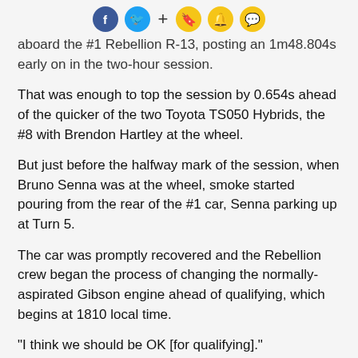Social sharing icons: Facebook, Twitter, +, Bookmark, Bell, Chat
aboard the #1 Rebellion R-13, posting an 1m48.804s early on in the two-hour session.
That was enough to top the session by 0.654s ahead of the quicker of the two Toyota TS050 Hybrids, the #8 with Brendon Hartley at the wheel.
But just before the halfway mark of the session, when Bruno Senna was at the wheel, smoke started pouring from the rear of the #1 car, Senna parking up at Turn 5.
The car was promptly recovered and the Rebellion crew began the process of changing the normally-aspirated Gibson engine ahead of qualifying, which begins at 1810 local time.
"I think we should be OK [for qualifying]."